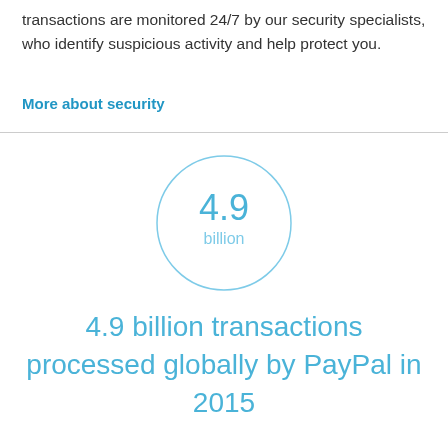transactions are monitored 24/7 by our security specialists, who identify suspicious activity and help protect you.
More about security
[Figure (infographic): Circle infographic showing '4.9 billion' in blue text inside a light blue circle outline]
4.9 billion transactions processed globally by PayPal in 2015